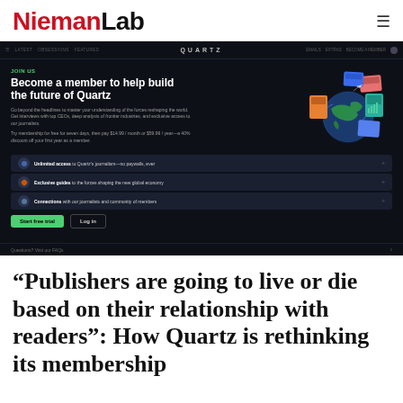NiemanLab
[Figure (screenshot): Screenshot of the Quartz website membership signup page with dark background, showing 'Become a member to help build the future of Quartz' headline, membership benefits, and a Start free trial button.]
“Publishers are going to live or die based on their relationship with readers”: How Quartz is rethinking its membership